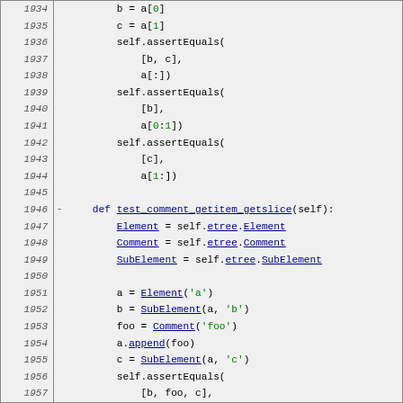[Figure (screenshot): Python source code listing with line numbers 1934-1963, showing test methods for getitem/getslice functionality with assertEqual calls and XML element manipulation.]